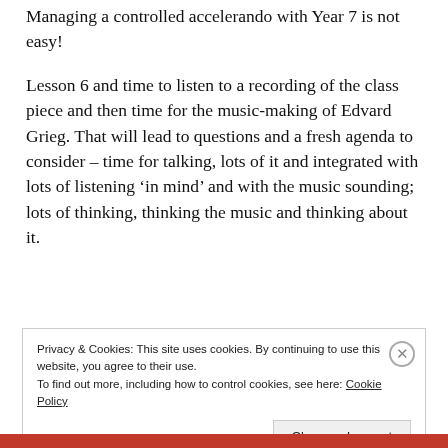Managing a controlled accelerando with Year 7 is not easy!
Lesson 6 and time to listen to a recording of the class piece and then time for the music-making of Edvard Grieg. That will lead to questions and a fresh agenda to consider – time for talking, lots of it and integrated with lots of listening 'in mind' and with the music sounding; lots of thinking, thinking the music and thinking about it.
Privacy & Cookies: This site uses cookies. By continuing to use this website, you agree to their use.
To find out more, including how to control cookies, see here: Cookie Policy
Close and accept